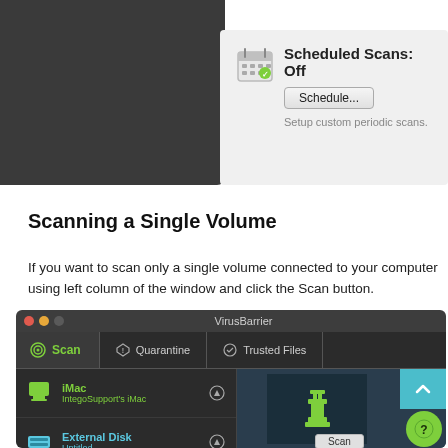[Figure (screenshot): macOS application screenshot showing scheduled scans panel with 'Scheduled Scans: Off' label, a Schedule button, and 'Setup custom periodic scans.' description]
Scanning a Single Volume
If you want to scan only a single volume connected to your computer using left column of the window and click the Scan button.
[Figure (screenshot): VirusBarrier application window showing Scan, Quarantine, and Trusted Files tabs, with iMac and External Disk entries in the left panel, and a scan interface on the right with scroll and help buttons]